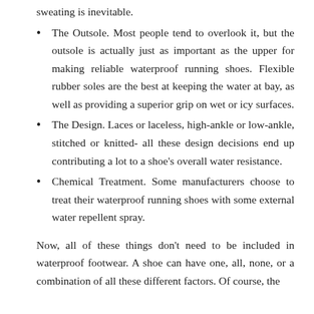sweating is inevitable.
The Outsole. Most people tend to overlook it, but the outsole is actually just as important as the upper for making reliable waterproof running shoes. Flexible rubber soles are the best at keeping the water at bay, as well as providing a superior grip on wet or icy surfaces.
The Design. Laces or laceless, high-ankle or low-ankle, stitched or knitted- all these design decisions end up contributing a lot to a shoe’s overall water resistance.
Chemical Treatment. Some manufacturers choose to treat their waterproof running shoes with some external water repellent spray.
Now, all of these things don’t need to be included in waterproof footwear. A shoe can have one, all, none, or a combination of all these different factors. Of course, the